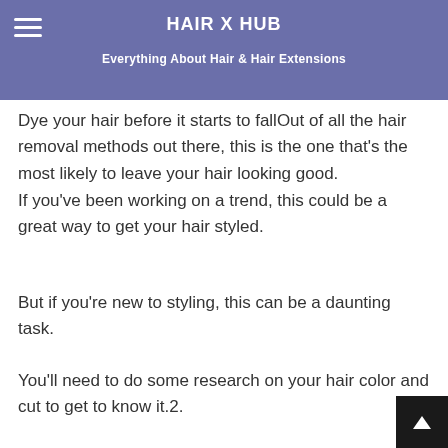HAIR X HUB
Everything About Hair & Hair Extensions
Dye your hair before it starts to fallOut of all the hair removal methods out there, this is the one that's the most likely to leave your hair looking good.
If you've been working on a trend, this could be a great way to get your hair styled.
But if you're new to styling, this can be a daunting task.
You'll need to do some research on your hair color and cut to get to know it.2.
Use a comb to lift and curl your hairIn this method, you use a comb for a quick removal, and then ap a soft comb for more control.3.